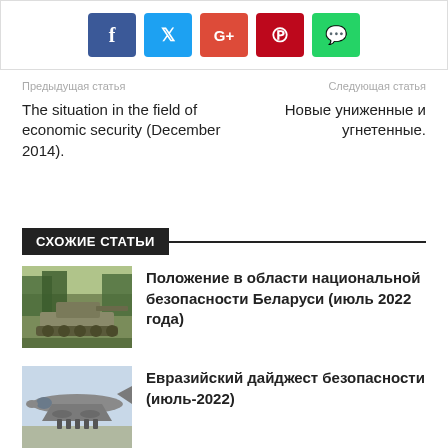[Figure (other): Social share buttons: Facebook (blue), Twitter (light blue), Google+ (red), Pinterest (dark red), WhatsApp (green)]
Предыдущая статья
Следующая статья
The situation in the field of economic security (December 2014).
Новые униженные и угнетенные.
СХОЖИЕ СТАТЬИ
[Figure (photo): Tank in a forest/field setting]
Положение в области национальной безопасности Беларуси (июль 2022 года)
[Figure (photo): Military aircraft with bombs or munitions underneath]
Евразийский дайджест безопасности (июль-2022)